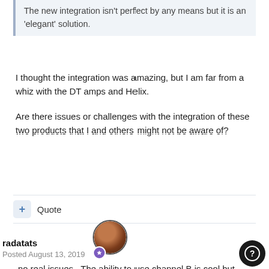The new integration isn't perfect by any means but it is an 'elegant' solution.
I thought the integration was amazing, but I am far from a whiz with the DT amps and Helix.
Are there issues or challenges with the integration of these two products that I and others might not be aware of?
+ Quote
[Figure (photo): User avatar circle photo with purple badge icon]
radatats
Posted August 13, 2019
no real issues.  The ability to use channel B is cool but totally dependent on the physical knob settings on the its not easy to switch back and forth but still glad to have my